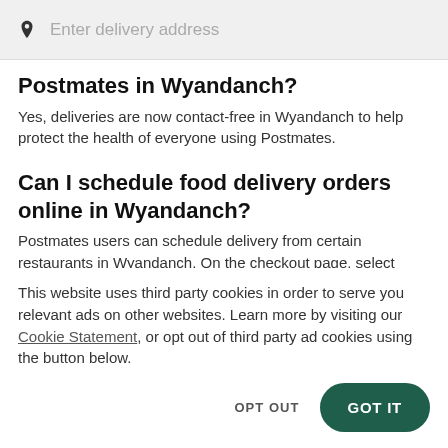[Figure (other): Search input bar with location pin icon and placeholder text 'Enter delivery address']
Postmates in Wyandanch?
Yes, deliveries are now contact-free in Wyandanch to help protect the health of everyone using Postmates.
Can I schedule food delivery orders online in Wyandanch?
Postmates users can schedule delivery from certain restaurants in Wyandanch. On the checkout page, select
This website uses third party cookies in order to serve you relevant ads on other websites. Learn more by visiting our Cookie Statement, or opt out of third party ad cookies using the button below.